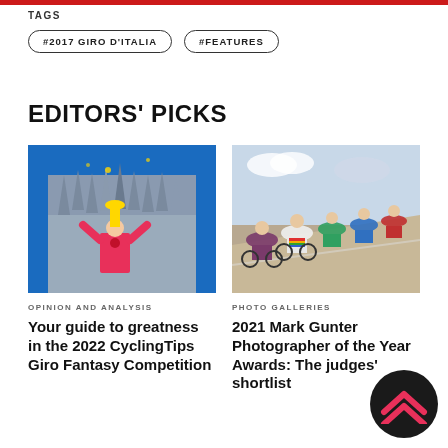TAGS
#2017 GIRO D'ITALIA
#FEATURES
EDITORS' PICKS
[Figure (photo): Cyclist in pink jersey holding trophy aloft in front of Milan cathedral]
OPINION AND ANALYSIS
Your guide to greatness in the 2022 CyclingTips Giro Fantasy Competition
[Figure (photo): Group of cyclists racing on a gravel road, leaning into a curve]
PHOTO GALLERIES
2021 Mark Gunter Photographer of the Year Awards: The judges' shortlist
[Figure (logo): CyclingTips chevron logo in red on dark circular badge]